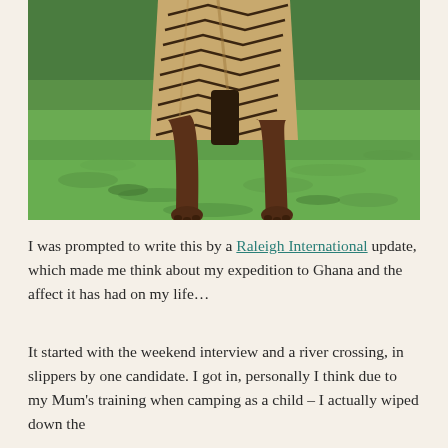[Figure (photo): Close-up photo of a person's lower body and feet walking barefoot on green grass, wearing a brown and black patterned cloth/wrap garment.]
I was prompted to write this by a Raleigh International update, which made me think about my expedition to Ghana and the affect it has had on my life…
It started with the weekend interview and a river crossing, in slippers by one candidate. I got in, personally I think due to my Mum's training when camping as a child – I actually wiped down the